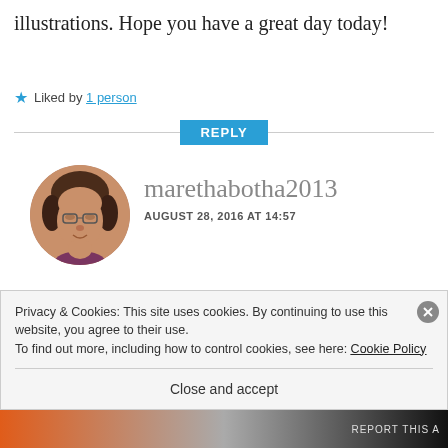illustrations. Hope you have a great day today!
★ Liked by 1 person
REPLY
[Figure (photo): Circular avatar photo of user marethabotha2013, showing a woman with glasses and dark hair.]
marethabotha2013
AUGUST 28, 2016 AT 14:57
Thank you so much for popping in. I appreciate your comments very
Privacy & Cookies: This site uses cookies. By continuing to use this website, you agree to their use.
To find out more, including how to control cookies, see here: Cookie Policy
Close and accept